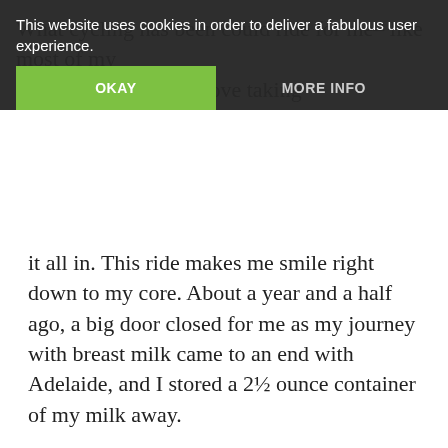This website uses cookies in order to deliver a fabulous user experience.
OKAY | MORE INFO
it all in. This ride makes me smile right down to my core. About a year and a half ago, a big door closed for me as my journey with breast milk came to an end with Adelaide, and I stored a 2½ ounce container of my milk away.
Let me explain. Addie and I didn't have a great breastfeeding relationship. It was bad almost from the beginning. She was tired after such a long labor and didn't latch well. Then I was so engorged she couldn't latch. Then all the milk I had came pouring out of the shield we tried. I was heartbroken, but after 6 months, I stopped trying to nurse her ever- we both just ended up frustrated. It wasn't the bonding experience I'd imagined. So I